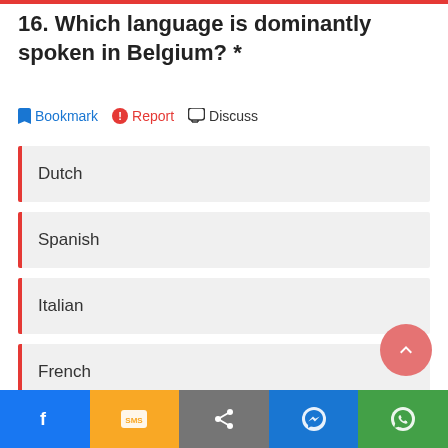16. Which language is dominantly spoken in Belgium? *
Dutch
Spanish
Italian
French
f  SMS  share  messenger  whatsapp